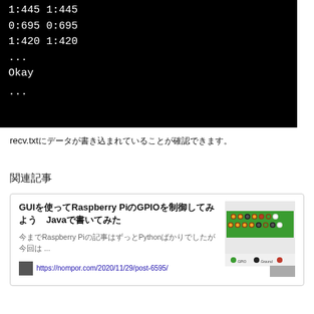[Figure (screenshot): Terminal/console output showing: 1:445 1:445, 0:695 0:695, 1:420 1:420, ..., Okay, ...]
recv.txtにデータが書き込まれていることが確認できます。
関連記事
[Figure (screenshot): Related article card: GUIを使ってRaspberry PiのGPIOを制御してみようJavaで書いてみた, with GPIO pin diagram image and link https://nompor.com/2020/11/29/post-6595/]